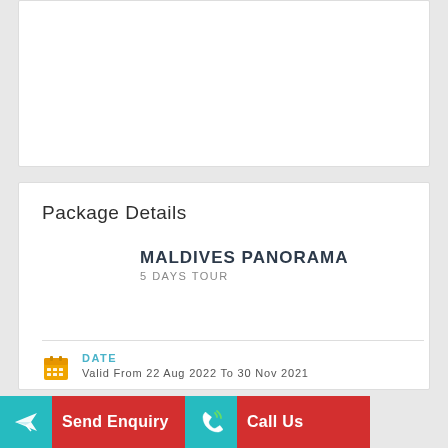[Figure (other): White card area at top, appears to contain an image (blank/white in this view)]
Package Details
MALDIVES PANORAMA
5 DAYS TOUR
DATE
Valid From 22 Aug 2022 To 30 Nov 2021
Send Enquiry
Call Us